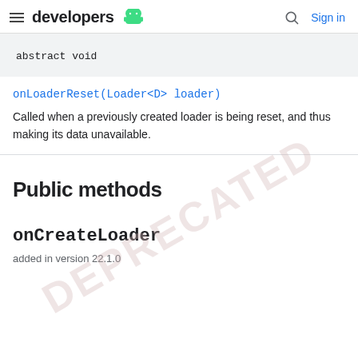developers  Sign in
abstract void
onLoaderReset(Loader<D> loader)
Called when a previously created loader is being reset, and thus making its data unavailable.
Public methods
onCreateLoader
added in version 22.1.0